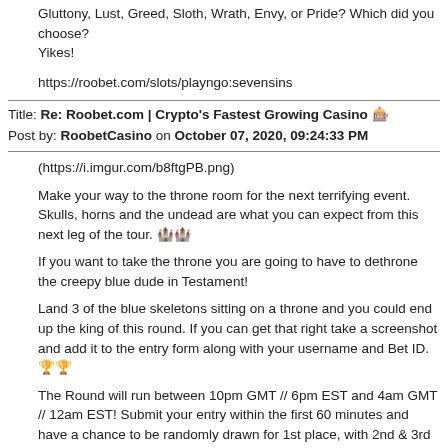Gluttony, Lust, Greed, Sloth, Wrath, Envy, or Pride? Which did you choose?
Yikes!
https://roobet.com/slots/playngo:sevensins
Title: Re: Roobet.com | Crypto's Fastest Growing Casino 🎰
Post by: RoobetCasino on October 07, 2020, 09:24:33 PM
(https://i.imgur.com/b8ftgPB.png)
Make your way to the throne room for the next terrifying event. Skulls, horns and the undead are what you can expect from this next leg of the tour. 🏰🏰
If you want to take the throne you are going to have to dethrone the creepy blue dude in Testament!
Land 3 of the blue skeletons sitting on a throne and you could end up the king of this round. If you can get that right take a screenshot and add it to the entry form along with your username and Bet ID. 🏆🏆
The Round will run between 10pm GMT // 6pm EST and 4am GMT // 12am EST! Submit your entry within the first 60 minutes and have a chance to be randomly drawn for 1st place, with 2nd & 3rd place drawn at random from ALL entries!